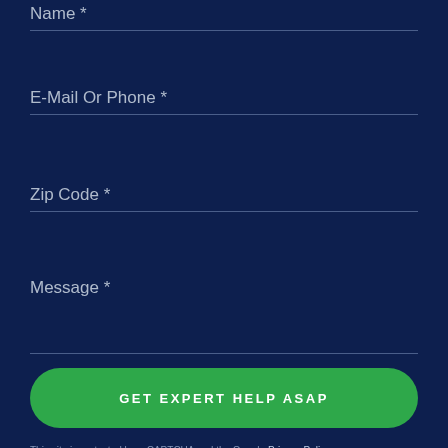Name *
E-Mail Or Phone *
Zip Code *
Message *
GET EXPERT HELP ASAP
This site is protected by reCAPTCHA and the Google Privacy Policy and Terms of Service apply.